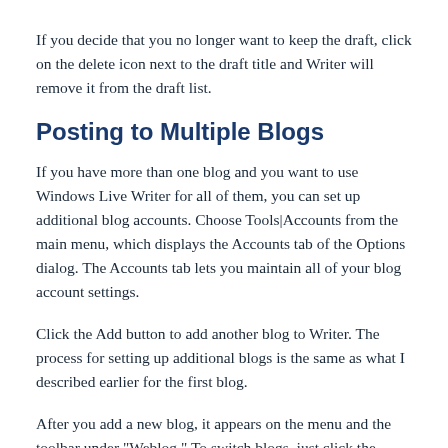If you decide that you no longer want to keep the draft, click on the delete icon next to the draft title and Writer will remove it from the draft list.
Posting to Multiple Blogs
If you have more than one blog and you want to use Windows Live Writer for all of them, you can set up additional blog accounts. Choose Tools|Accounts from the main menu, which displays the Accounts tab of the Options dialog. The Accounts tab lets you maintain all of your blog account settings.
Click the Add button to add another blog to Writer. The process for setting up additional blogs is the same as what I described earlier for the first blog.
After you add a new blog, it appears on the menu and the toolbar under "Weblog." To switch blogs, just click the appropriate Weblog menu item.